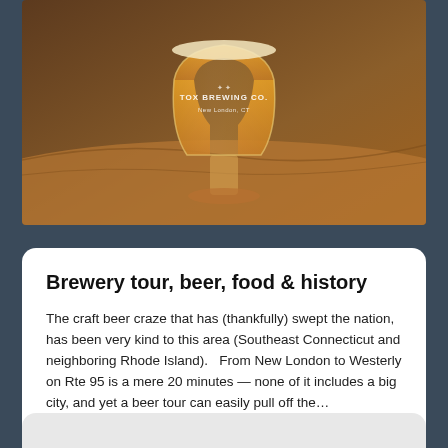[Figure (photo): A beer glass from Tox Brewing Co., New London, CT, sitting on a wooden surface. The glass contains an amber/orange beer and has a logo with text 'TOX BREWING CO. New London, CT' on it.]
Brewery tour, beer, food & history
The craft beer craze that has (thankfully) swept the nation, has been very kind to this area (Southeast Connecticut and neighboring Rhode Island).   From New London to Westerly on Rte 95 is a mere 20 minutes — none of it includes a big city, and yet a beer tour can easily pull off the…
Read More »
December 11, 2019